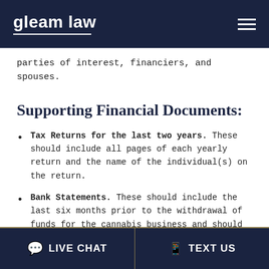gleam law
parties of interest, financiers, and spouses.
Supporting Financial Documents:
Tax Returns for the last two years. These should include all pages of each yearly return and the name of the individual(s) on the return.
Bank Statements. These should include the last six months prior to the withdrawal of funds for the cannabis business and should include:
LIVE CHAT   TEXT US